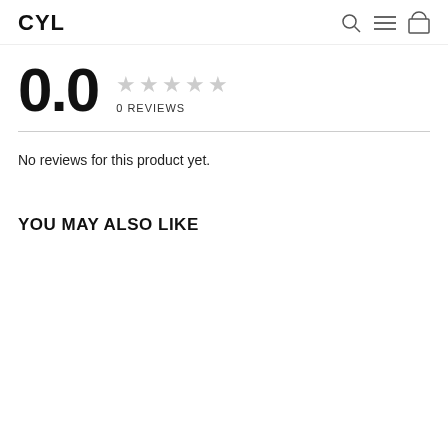CYL
0.0 ★★★★★ 0 REVIEWS
No reviews for this product yet.
YOU MAY ALSO LIKE